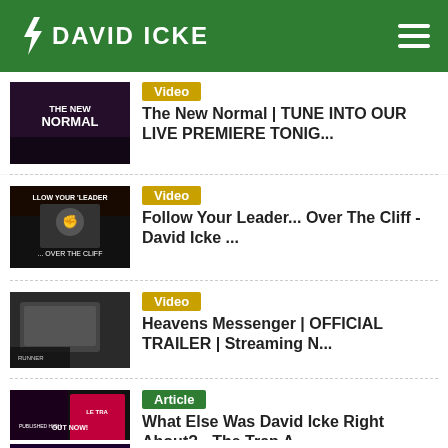DAVID ICKE
[Figure (screenshot): Thumbnail for 'The New Normal' video with dark overlay text]
Video
The New Normal | TUNE INTO OUR LIVE PREMIERE TONIG...
[Figure (screenshot): Thumbnail showing 'Follow Your Leader - Over The Cliff' with a figure raising fist]
Video
Follow Your Leader... Over The Cliff - David Icke ...
[Figure (screenshot): Thumbnail for 'Heavens Messenger' official trailer with laptop on desk]
Video
Heavens Messenger | OFFICIAL TRAILER | Streaming N...
[Figure (screenshot): Thumbnail for 'What Else Was David Icke Right About? - The Trap A...' article with 'Out Now' branding]
Article
What Else Was David Icke Right About? - The Trap A...
Article